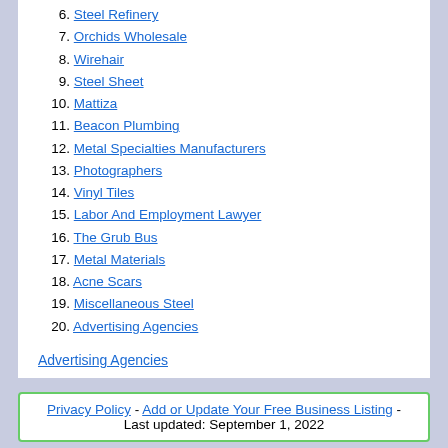6. Steel Refinery
7. Orchids Wholesale
8. Wirehair
9. Steel Sheet
10. Mattiza
11. Beacon Plumbing
12. Metal Specialties Manufacturers
13. Photographers
14. Vinyl Tiles
15. Labor And Employment Lawyer
16. The Grub Bus
17. Metal Materials
18. Acne Scars
19. Miscellaneous Steel
20. Advertising Agencies
Advertising Agencies
Privacy Policy - Add or Update Your Free Business Listing - Last updated: September 1, 2022